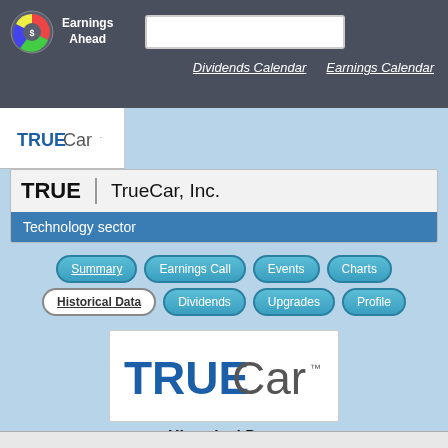Earnings Ahead
Dividends Calendar   Earnings Calendar
[Figure (logo): TrueCar small logo in white box]
TRUE | TrueCar, Inc.
Technology sector
Summary  Earnings Call  Events  Charts  Historical Data  Dividends  Upgrades  Profile
[Figure (logo): TrueCar large logo in white box]
Historical Data